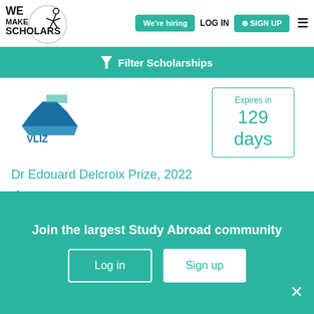[Figure (logo): We Make Scholars logo with stick figure and circular border]
We're hiring
LOG IN
SIGN UP
Filter Scholarships
[Figure (logo): VLIZ logo - blue layered shape with VLIZ text]
Expires in
129 days
Dr Edouard Delcroix Prize, 2022
Research Fellow/ Scientist
Partial Funding
Links between oceans and human health
Join the largest Study Abroad community
Log in
Sign up